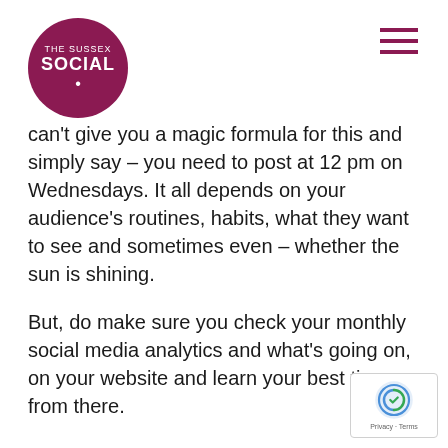[Figure (logo): The Sussex Social circular logo with dark magenta background and white text]
can't give you a magic formula for this and simply say – you need to post at 12 pm on Wednesdays. It all depends on your audience's routines, habits, what they want to see and sometimes even – whether the sun is shining.
But, do make sure you check your monthly social media analytics and what's going on, on your website and learn your best times from there.
Keep it simple
We can all be guilty of thinking someone knows everything we know, particularly if we always t… about it. Still, people outside of your industry m… not know what you are talking about, so keeping it…